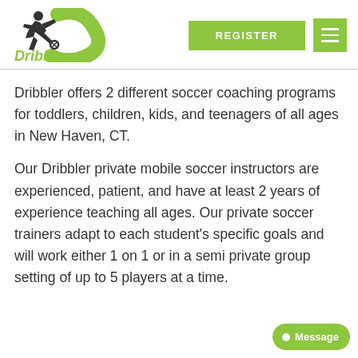[Figure (logo): Dribbler logo with soccer player silhouette and green D-swoosh, with 'Dribbler' text in green below]
REGISTER  ≡
Dribbler offers 2 different soccer coaching programs for toddlers, children, kids, and teenagers of all ages in New Haven, CT.
Our Dribbler private mobile soccer instructors are experienced, patient, and have at least 2 years of experience teaching all ages. Our private soccer trainers adapt to each student's specific goals and will work either 1 on 1 or in a semi private group setting of up to 5 players at a time.